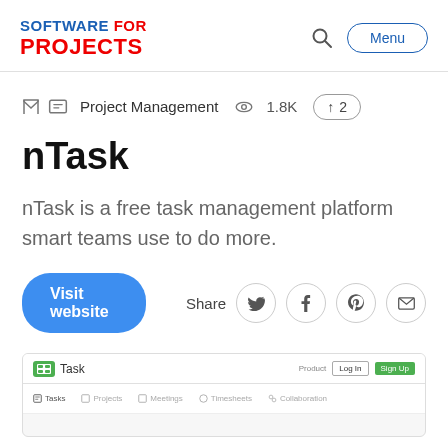SOFTWARE FOR PROJECTS
Project Management  1.8K  ↑ 2
nTask
nTask is a free task management platform smart teams use to do more.
Visit website  Share
[Figure (screenshot): Screenshot of nTask web application showing navigation bar with Tasks, Projects, Meetings, Timesheets, Collaboration tabs, and top-right Log In / Sign Up buttons.]